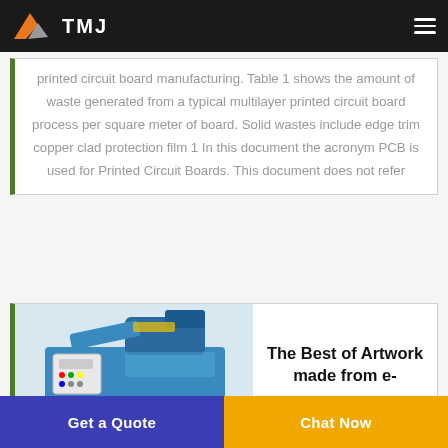TMJ — navigation bar with logo and hamburger menu
printed circuit board manufacturing. Table 1 shows the amount of waste generated from a typical multilayer printed circuit board process per square meter of board. Solid wastes include edge trim copper clad protection film 1 In this document the acronym PCB is used for Printed Circuit Boards. This document does not refer
[Figure (photo): Blue industrial machine (PCB/e-waste processing equipment) with control panel, positioned on the left side of the second card]
The Best of Artwork made from e-
Get a Quote
Chat Now